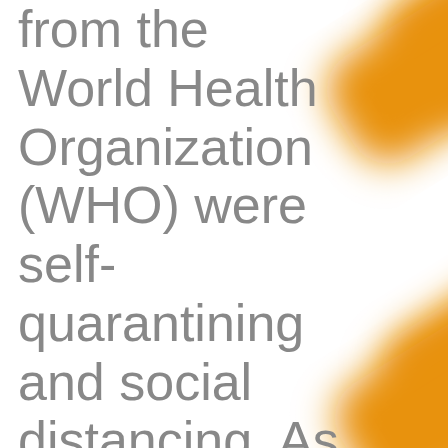[Figure (illustration): Two diagonal orange blurred rectangular shapes on the right side of the page, arranged like a stylized 'S' or chevron pattern against a white background.]
from the World Health Organization (WHO) were self-quarantining and social distancing. As many of us did our best to...